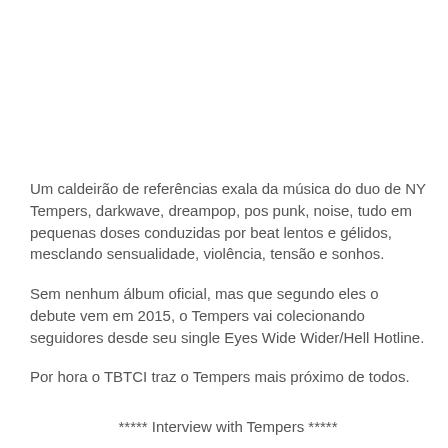Um caldeirão de referências exala da música do duo de NY Tempers, darkwave, dreampop, pos punk, noise, tudo em pequenas doses conduzidas por beat lentos e gélidos, mesclando sensualidade, violência, tensão e sonhos.
Sem nenhum álbum oficial, mas que segundo eles o debute vem em 2015, o Tempers vai colecionando seguidores desde seu single Eyes Wide Wider/Hell Hotline.
Por hora o TBTCI traz o Tempers mais próximo de todos.
***** Interview with Tempers *****